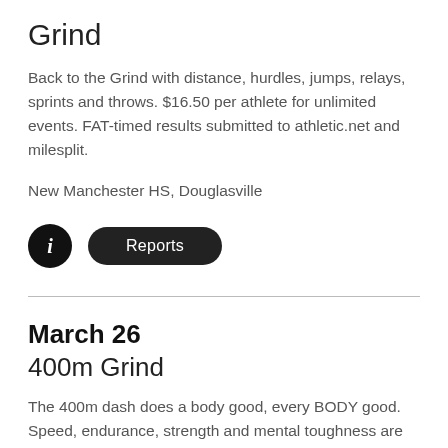Grind
Back to the Grind with distance, hurdles, jumps, relays, sprints and throws. $16.50 per athlete for unlimited events. FAT-timed results submitted to athletic.net and milesplit.
New Manchester HS, Douglasville
[Figure (other): Info icon (black circle with white 'i') and a black rounded-rectangle 'Reports' button]
March 26
400m Grind
The 400m dash does a body good, every BODY good. Speed, endurance, strength and mental toughness are all required for